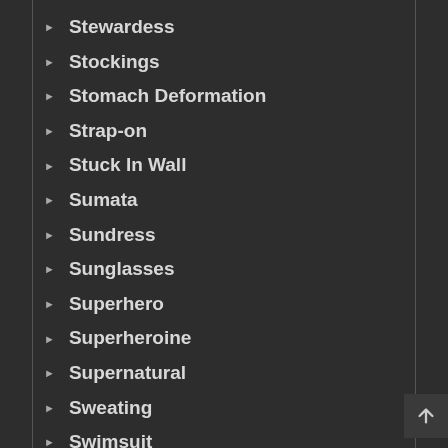Stewardess
Stockings
Stomach Deformation
Strap-on
Stuck In Wall
Sumata
Sundress
Sunglasses
Superhero
Superheroine
Supernatural
Sweating
Swimsuit